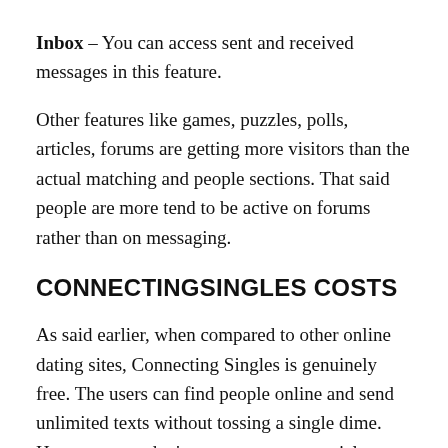Inbox – You can access sent and received messages in this feature.
Other features like games, puzzles, polls, articles, forums are getting more visitors than the actual matching and people sections. That said people are more tend to be active on forums rather than on messaging.
CONNECTINGSINGLES COSTS
As said earlier, when compared to other online dating sites, Connecting Singles is genuinely free. The users can find people online and send unlimited texts without tossing a single dime. However, you don't expect to get potential matches from it as most